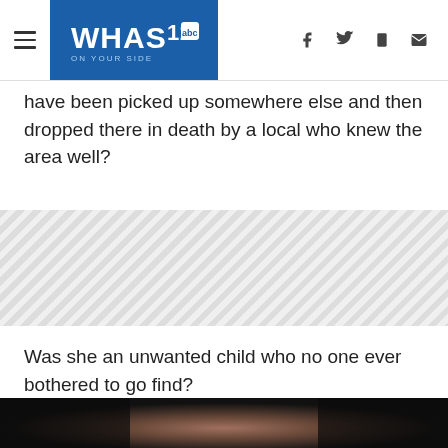WHAS11 abc ON YOUR SIDE | navigation and social icons
have been picked up somewhere else and then dropped there in death by a local who knew the area well?
[Figure (other): Hatched/striped gray advertisement or content placeholder band]
Was she an unwanted child who no one ever bothered to go find?
[Figure (photo): Blurred dark photograph of a child or person, background mostly dark with warm blurred tones in center]